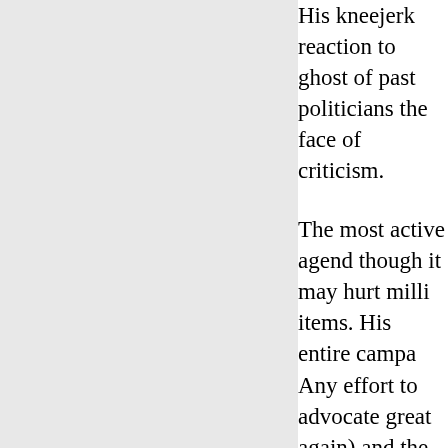His kneejerk reaction to ghost of past politicians the face of criticism. The most active agend though it may hurt milli items. His entire campa Any effort to advocate great again) and the pr signifigant and detailed attacks on past politicia in Make America Great His use of executive di doesn't even give the o Obama's use of execut of them as a preemptiv from scandals and pixi supporters or any of th Executive actions for T